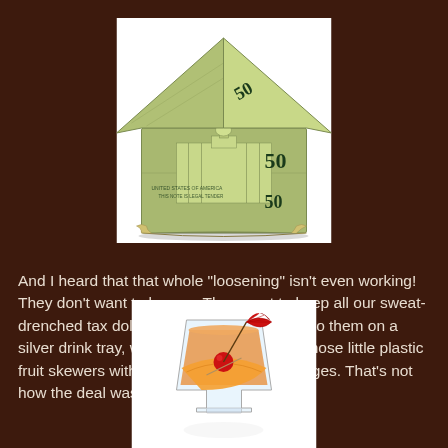[Figure (photo): A house made of folded $50 dollar bills, origami-style, on a white background]
And I heard that that whole "loosening" isn't even working! They don't want to loosen. They want to keep all our sweat-drenched tax dollars that are being served to them on a silver drink tray, with cocktail napkins and those little plastic fruit skewers with cherries and orange wedges. That's not how the deal was supposed to go!
[Figure (photo): A cocktail glass with an orange wedge, cherry, and decorative paper umbrella on a white background]